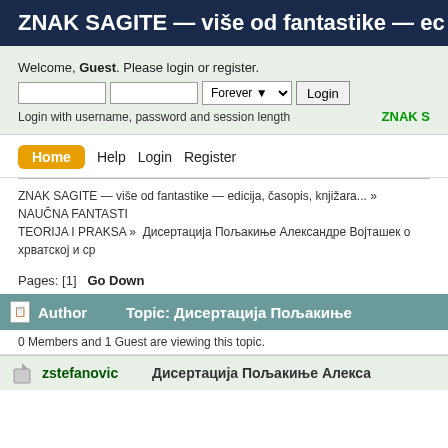ZNAK SAGITE — više od fantastike — ec
Welcome, Guest. Please login or register.
Login with username, password and session length
ZNAK S
Home  Help  Login  Register
ZNAK SAGITE — više od fantastike — edicija, časopis, knjižara... » NAUČNA FANTASTI TEORIJA I PRAKSA »  Дисертација Пољакиње Александре Војташек о хрватској и ср
Pages: [1]   Go Down
| Author | Topic: Дисертација Пољакиње |
| --- | --- |
| 0 Members and 1 Guest are viewing this topic. |  |
| zstefanovic | Дисертација Пољакиње Алекса |
0 Members and 1 Guest are viewing this topic.
zstefanovic
Дисертација Пољакиње Алекса